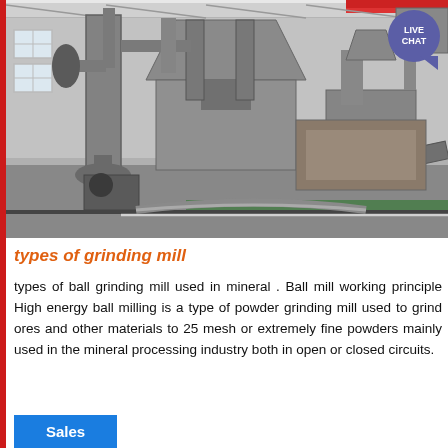[Figure (photo): Industrial grinding mill facility interior showing large metal machinery, hoppers, pipes, conveyors and dust collection equipment in a factory setting with green floor markings.]
types of grinding mill
types of ball grinding mill used in mineral . Ball mill working principle High energy ball milling is a type of powder grinding mill used to grind ores and other materials to 25 mesh or extremely fine powders mainly used in the mineral processing industry both in open or closed circuits.
Sales